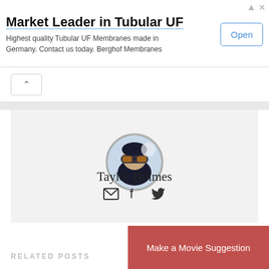[Figure (infographic): Advertisement banner for Berghof Membranes - Market Leader in Tubular UF with Open button]
Taylor Holmes
[Figure (photo): Circular profile photo of Taylor Holmes wearing ski goggles and dark winter gear]
RELATED POSTS
Make a Movie Suggestion